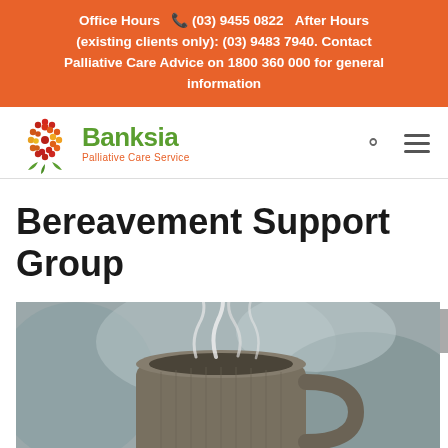Office Hours  (03) 9455 0822   After Hours (existing clients only): (03) 9483 7940. Contact Palliative Care Advice on 1800 360 000 for general information
[Figure (logo): Banksia Palliative Care Service logo with circular dot flower icon in red/orange/yellow and green text]
Bereavement Support Group
[Figure (photo): Close-up photo of a steaming ceramic coffee mug with blurred background]